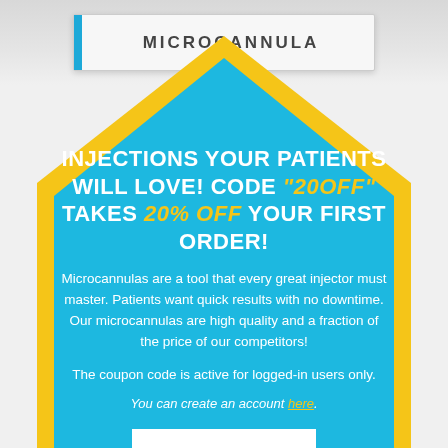[Figure (photo): Product box with 'microcannula' branding shown at top of image on light gray background]
INJECTIONS YOUR PATIENTS WILL LOVE! CODE "20OFF" TAKES 20% OFF YOUR FIRST ORDER!
Microcannulas are a tool that every great injector must master. Patients want quick results with no downtime. Our microcannulas are high quality and a fraction of the price of our competitors!
The coupon code is active for logged-in users only.
You can create an account here.
SHOP